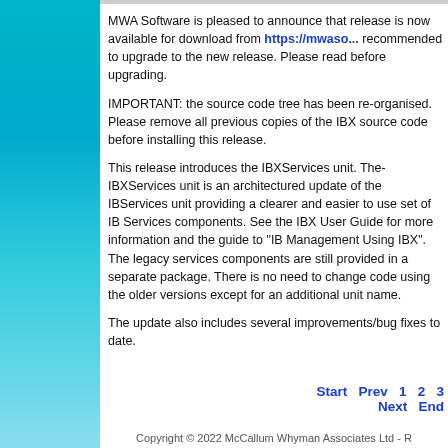MWA Software is pleased to announce that release is now available for download from https://mwasoftware... recommended to upgrade to the new release. Please read before upgrading.
IMPORTANT: the source code tree has been re-organised. Please remove all previous copies of the IBX source code before installing this release.
This release introduces the IBXServices unit. The IBXServices unit is an architectured update of the IBServices unit providing a clearer and easier to use set of IB Services components. See the IBX User Guide for more information and the guide to "IB Management Using IBX". The legacy services components are still provided in a separate package. There is no need to change code using the older versions except for an additional unit name.
The update also includes several improvements/bug fixes to date.
Start  Prev  1  2  3  Next  End
Copyright © 2022 McCallum Whyman Associates Ltd - R